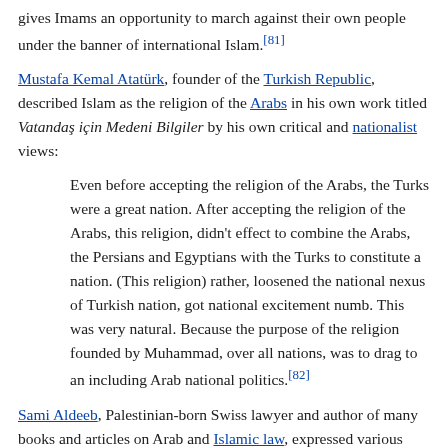gives Imams an opportunity to march against their own people under the banner of international Islam.[81]
Mustafa Kemal Atatürk, founder of the Turkish Republic, described Islam as the religion of the Arabs in his own work titled Vatandaş için Medeni Bilgiler by his own critical and nationalist views:
Even before accepting the religion of the Arabs, the Turks were a great nation. After accepting the religion of the Arabs, this religion, didn't effect to combine the Arabs, the Persians and Egyptians with the Turks to constitute a nation. (This religion) rather, loosened the national nexus of Turkish nation, got national excitement numb. This was very natural. Because the purpose of the religion founded by Muhammad, over all nations, was to drag to an including Arab national politics.[82]
Sami Aldeeb, Palestinian-born Swiss lawyer and author of many books and articles on Arab and Islamic law, expressed various positions critical of Islam, for example, he positioned himself for a ban on the erection of minarets in Switzerland, since in his opinion the constitution allows prayer, but not shouting.[83]